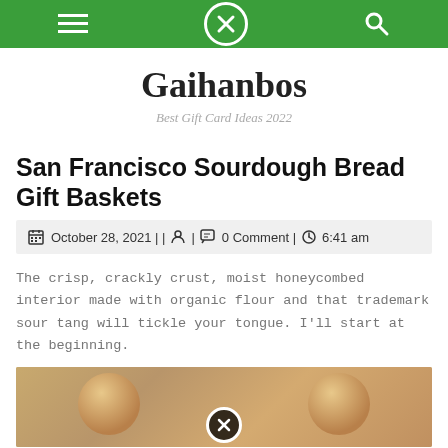Gaihanbos — navigation bar with menu, close, and search icons
Gaihanbos
Best Gift Card Ideas 2022
San Francisco Sourdough Bread Gift Baskets
October 28, 2021 | | 👤 | 0 Comment | 6:41 am
The crisp, crackly crust, moist honeycombed interior made with organic flour and that trademark sour tang will tickle your tongue. I'll start at the beginning.
[Figure (photo): Sourdough bread loaves, warm golden-brown color]